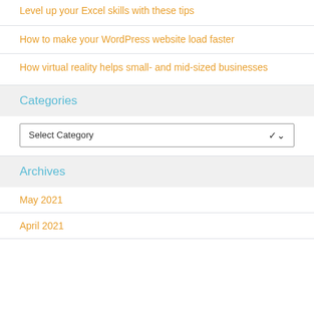Level up your Excel skills with these tips
How to make your WordPress website load faster
How virtual reality helps small- and mid-sized businesses
Categories
Select Category
Archives
May 2021
April 2021